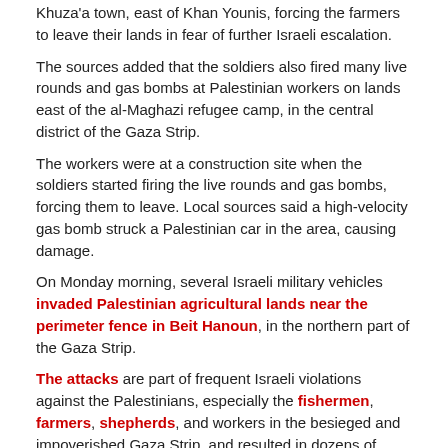Khuza'a town, east of Khan Younis, forcing the farmers to leave their lands in fear of further Israeli escalation.
The sources added that the soldiers also fired many live rounds and gas bombs at Palestinian workers on lands east of the al-Maghazi refugee camp, in the central district of the Gaza Strip.
The workers were at a construction site when the soldiers started firing the live rounds and gas bombs, forcing them to leave. Local sources said a high-velocity gas bomb struck a Palestinian car in the area, causing damage.
On Monday morning, several Israeli military vehicles invaded Palestinian agricultural lands near the perimeter fence in Beit Hanoun, in the northern part of the Gaza Strip.
The attacks are part of frequent Israeli violations against the Palestinians, especially the fishermen, farmers, shepherds, and workers in the besieged and impoverished Gaza Strip, and resulted in dozens of casualties, including fatalities, in addition to severe property damage and the confiscation of many boats after abducting the fishermen.
In March of last year, 2021, the Palestinian Interior Ministry in Gaza said Israeli mines were responsible for an explosion that led to the death of three fishermen.
(Source / 08.03.2022)